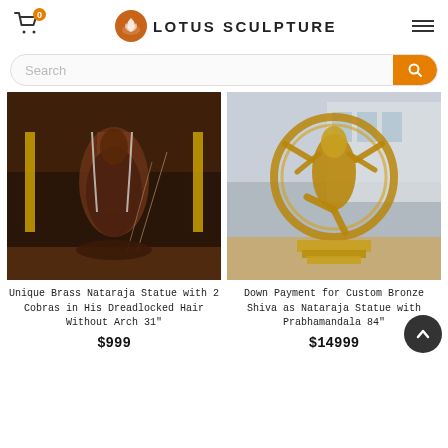Lotus Sculpture — 0 cart items, search bar, hamburger menu
[Figure (photo): Unique Brass Nataraja statue with dark bronze finish, showing Shiva dancing with 2 cobras, no arch, photographed indoors with incense]
Unique Brass Nataraja Statue with 2 Cobras in His Dreadlocked Hair Without Arch 31"
$999
[Figure (photo): Custom Bronze Shiva as Nataraja statue with Prabhamandala 84 inch, golden bronze finish, photographed outdoors]
Down Payment for Custom Bronze Shiva as Nataraja Statue with Prabhamandala 84"
$14999